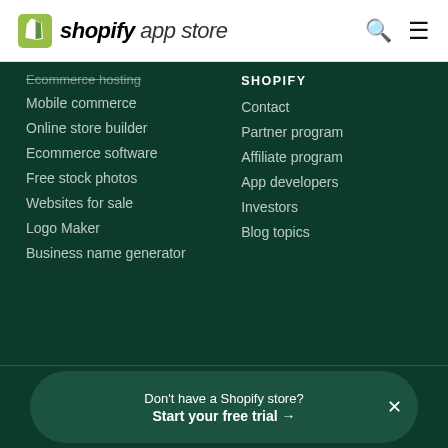Shopify App Store
Ecommerce hosting
Mobile commerce
Online store builder
Ecommerce software
Free stock photos
Websites for sale
Logo Maker
Business name generator
SHOPIFY
Contact
Partner program
Affiliate program
App developers
Investors
Blog topics
Don't have a Shopify store?
Start your free trial →
Developer Login